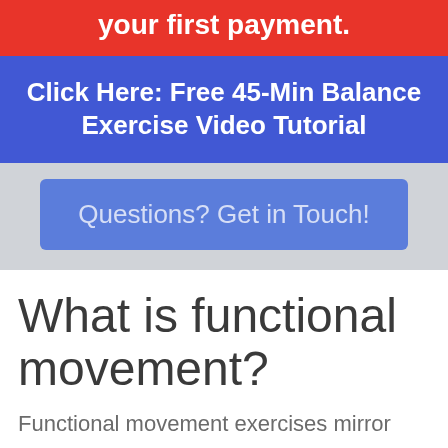your first payment.
Click Here: Free 45-Min Balance Exercise Video Tutorial
Questions? Get in Touch!
What is functional movement?
Functional movement exercises mirror